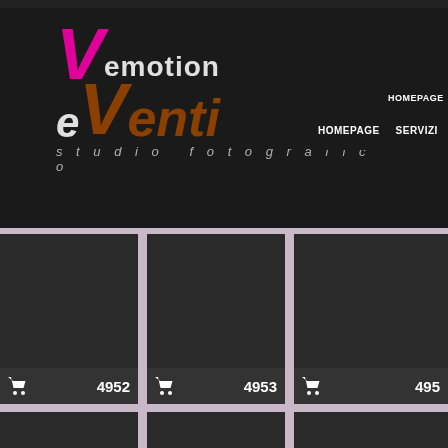[Figure (screenshot): eVenti emotion studio fotografico website header with logo and navigation showing HOMEPAGE, SERVIZI, EV... links on dark background]
[Figure (screenshot): Photo gallery grid showing dark thumbnail placeholders with shopping cart icons and numbers: 4952, 4953, 4957, 4958, 4962, 4963 and partial items]
[Figure (logo): Pink app icon with white upward-pointing chevron in bottom right corner]